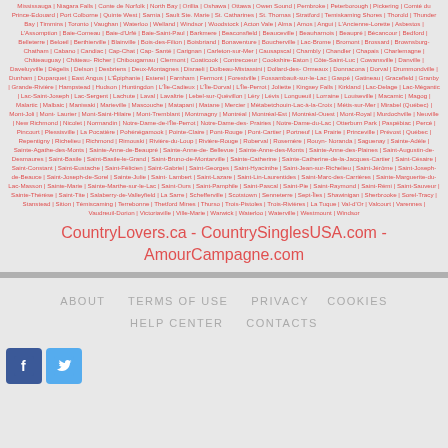Mississauga | Niagara Falls | Conte de Norfolk | North Bay | Orillia | Oshawa | Ottawa | Owen Sound | Pembroke | Peterborough | Pickering | Comté du Prince-Edouard | Port Colborne | Quinte West | Sarnia | Sault Ste. Marie | St. Catharines | St. Thomas | Stratford | Temiskaming Shores | Thorold | Thunder Bay | Timmins | Toronto | Vaughan | Waterloo | Welland | Windsor | Woodstock | Acton Vale | Alma | Amos | Angui | L'Ancienne-Lorette | Asbestos | L'Assomption | Baie-Comeau | Baie-d'Urfé | Baie-Saint-Paul | Barkmere | Beaconsfield | Beauceville | Beauharnois | Beaupré | Bécancour | Bedford | Belleterre | Beloeil | Berthierville | Blainville | Bois-des-Filion | Boisbriand | Bonaventure | Boucherville | Lac-Brome | Bromont | Brossard | Brownsburg-Chatham | Cabano | Candiac | Cap-Chat | Cap-Santé | Carignan | Carleton-sur-Mer | Causapscal | Chambly | Chandler | Chapais | Charlemagne | Châteauguay | Château-Richer | Chibougamau | Clermont | Coaticook | Contrecoeur | Cookshire-Eaton | Côte-Saint-Luc | Cowansville | Danville | Daveluyville | Dégelis | Delson | Desbriens | Deux-Montagnes | Disraeli | Dolbeau-Mistassini | Dollard-des-Ormeaux | Donnacona | Dorval | Drummondville | Dunham | Duparquet | East Angus | L'Épiphanie | Esterel | Farnham | Fermont | Forestville | Fossambault-sur-le-Lac | Gaspé | Gatineau | Gracefield | Granby | Grande-Rivière | Hampstead | Hudson | Huntingdon | L'Île-Cadieux | L'Île-Dorval | L'Île-Perrot | Joliette | Kingsey Falls | Kirkland | Lac-Delage | Lac-Mégantic | Lac-Saint-Joseph | Lac-Sergent | Lachute | Laval | Lavaltrie | Lebel-sur-Quévillon | Léry | Lévis | Longueuil | Lorraine | Louiseville | Macamic | Magog | Malartic | Malbaic | Maniwaki | Marieville | Mascouche | Matapani | Matane | Mercier | Métabetchouin-Lac-à-la-Croix | Métis-sur-Mer | Mirabel (Québec) | Mont-Joli | Mont-Laurier | Mont-Saint-Hilaire | Mont-Tremblant | Montmagny | Montréal | Montréal-Est | Montréal-Ouest | Mont-Royal | Murdochville | Neuville | New Richmond | Nicolet | Normandin | Notre-Dame-de-l'Île-Perrot | Notre-Dame-des-Prairies | Notre-Dame-du-Lac | Otterburn Park | Paspébiac | Percé | Pincourt | Plessisville | La Pocatière | Pohénégamook | Pointe-Claire | Pont-Rouge | Pont-Cartier | Portneuf | La Prairie | Princeville | Prévost | Québec | Repentigny | Richelieu | Richmond | Rimouski | Rivière-du-Loup | Rivière-Rouge | Roberval | Rosemère | Rouyn-Noranda | Saguenay | Sainte-Adèle | Sainte-Agathe-des-Monts | Sainte-Anne-de-Beaupré | Sainte-Anne-de-Bellevue | Sainte-Anne-des-Monts | Sainte-Anne-des-Plaines | Saint-Augustin-de-Desmaures | Saint-Basile | Saint-Basile-le-Grand | Saint-Bruno-de-Montarville | Sainte-Catherine | Sainte-Catherine-de-la-Jacques-Cartier | Saint-Césaire | Saint-Constant | Saint-Eustache | Saint-Félicien | Saint-Gabriel | Saint-Georges | Saint-Hyacinthe | Saint-Jean-sur-Richelieu | Saint-Jérôme | Saint-Joseph-de-Beauce | Saint-Joseph-de-Sorel | Sainte-Julie | Saint-Lambert | Saint-Lazare | Saint-Lin-Laurentides | Saint-Marc-des-Carrières | Sainte-Marguerite-du-Lac-Masson | Sainte-Marie | Sainte-Marthe-sur-le-Lac | Saint-Ours | Saint-Pamphile | Saint-Pascal | Saint-Pie | Saint-Raymond | Saint-Rémi | Saint-Sauveur | Sainte-Thérèse | Saint-Tite | Salaberry-de-Valleyfield | La Sarre | Schefferville | Scotstown | Senneterre | Sept-Îles | Shawinigan | Sherbrooke | Sorel-Tracy | Stanstead | Sition | Témiscaming | Terrebonne | Thetford Mines | Thurso | Trois-Pistoles | Trois-Rivières | La Tuque | Val-d'Or | Valcourt | Varennes | Vaudreuil-Dorion | Victoriaville | Ville-Marie | Warwick | Waterloo | Waterville | Westmount | Windsor
CountryLovers.ca - CountrySinglesUSA.com - AmourCampagne.com
ABOUT   TERMS OF USE   PRIVACY   COOKIES   HELP CENTER   CONTACTS